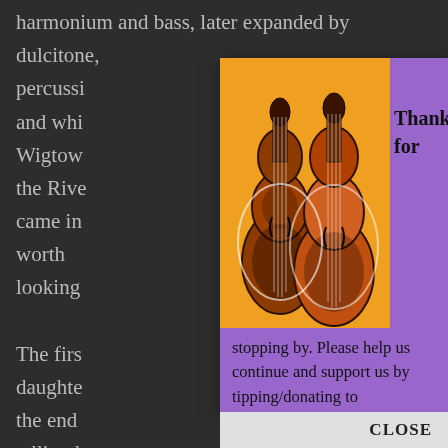harmonium and bass, later expanded by dulcitone, percuss... ...iddle and whi... ...f the Wigtow... ...own in the Rive... ...tics came i... ...y worth looking...
[Figure (illustration): Popup overlay with purple background showing two ornate violins on an orange background, with 'Thanks for stopping by' message and donation request for folking.com]
Thanks for
stopping by. Please help us continue and support us by tipping/donating to folking.com via paypal.me/folkingcom
We all give our spare time to run folking.com so making a donation/ tip makes all the
The firs... Carol's daughte... spent the end... ...ng telling h... ...send her and... ...tion to the reco... ...giving power t...
'Continu... of Fiona's pregnan... life. 'Little R... ...ghter
CLOSE